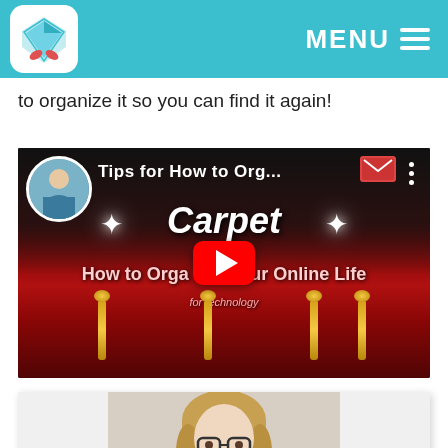MENU
to organize it so you can find it again!
[Figure (screenshot): YouTube video thumbnail titled 'Tips for How to Org... Carpet' with subtitle 'How to Organize Your Online Life', showing red carpet background, gold stanchions, play button, and circular avatar of a woman in top left corner.]
[Figure (photo): Headshot photo of a blonde woman with glasses wearing a blue shirt, smiling at camera, on a light background.]